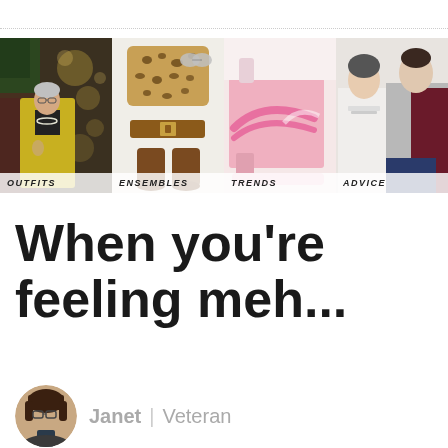[Figure (screenshot): Navigation strip with four category images: OUTFITS (woman in yellow coat), ENSEMBLES (leopard print sweater, boots, belt, sunglasses), TRENDS (pink mule sandals), ADVICE (two women in tops)]
When you're feeling meh...
Janet | Veteran